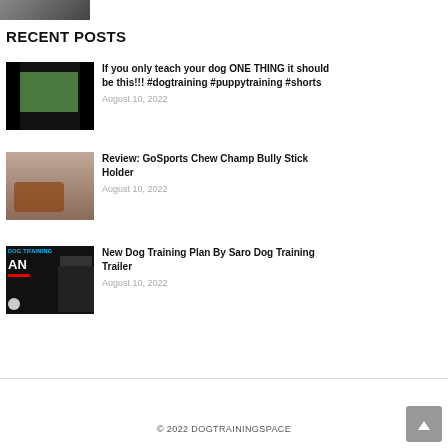[Figure (photo): Partial thumbnail image at top left, cropped view of a dog/person]
RECENT POSTS
[Figure (photo): Thumbnail image showing person and dog outdoors on green field, dark border]
If you only teach your dog ONE THING it should be this!!! #dogtraining #puppytraining #shorts
August 10, 2022
[Figure (photo): Thumbnail image showing a dog chewing on a red toy/stick holder]
Review: GoSports Chew Champ Bully Stick Holder
August 10, 2022
[Figure (photo): Thumbnail showing dog training plan promotional image with text DOG TRAINING and person in black]
New Dog Training Plan By Saro Dog Training Trailer
August 10, 2022
© 2022 DOGTRAININGSPACE